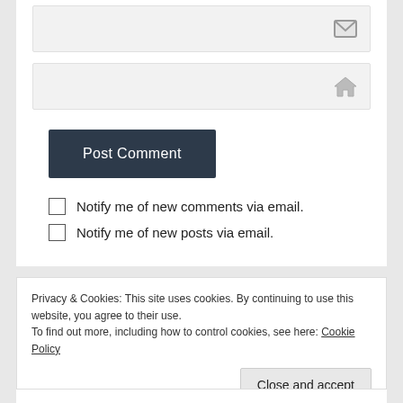[Figure (screenshot): Email input field with envelope icon on right]
[Figure (screenshot): Website URL input field with home icon on right]
Post Comment
Notify me of new comments via email.
Notify me of new posts via email.
Privacy & Cookies: This site uses cookies. By continuing to use this website, you agree to their use.
To find out more, including how to control cookies, see here: Cookie Policy
Close and accept